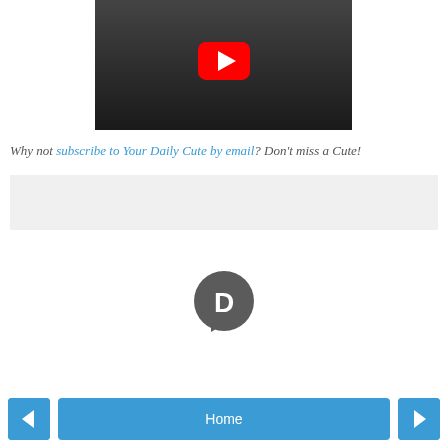[Figure (screenshot): YouTube video thumbnail showing black and white image of legs on a stage with a red YouTube play button overlay in the center]
Why not subscribe to Your Daily Cute by email? Don't miss a Cute!
[Figure (other): Gray advertisement placeholder box]
[Figure (logo): Disqus logo - dark gray circle with white D letter and chat bubble shape]
[Figure (infographic): Navigation buttons: left arrow, Home, right arrow]